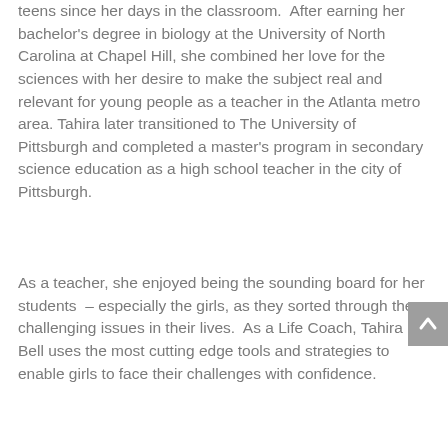teens since her days in the classroom.  After earning her bachelor's degree in biology at the University of North Carolina at Chapel Hill, she combined her love for the sciences with her desire to make the subject real and relevant for young people as a teacher in the Atlanta metro area. Tahira later transitioned to The University of Pittsburgh and completed a master's program in secondary science education as a high school teacher in the city of Pittsburgh.
As a teacher, she enjoyed being the sounding board for her students  – especially the girls, as they sorted through the challenging issues in their lives.  As a Life Coach, Tahira Bell uses the most cutting edge tools and strategies to enable girls to face their challenges with confidence.